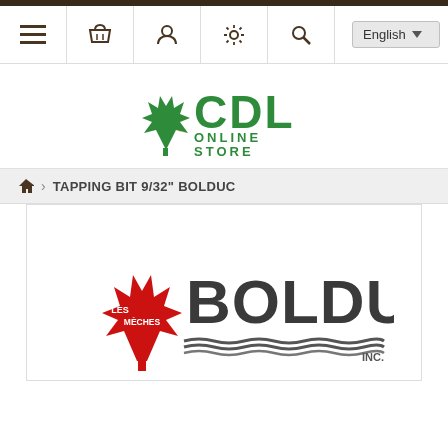CDL ONLINE STORE — navigation bar with menu, basket, user, settings, search, English language selector
[Figure (logo): CDL Online Store logo with green maple leaf and gold accent, text 'CDL' in large green bold font, 'ONLINE STORE' below in smaller green caps]
🏠 > TAPPING BIT 9/32" BOLDUC
[Figure (logo): Les Mèches Bolduc Inc. logo: red maple leaf with 'LES MÈCHES' text, large bold 'BOLDUC' text in dark charcoal, drill bits graphic below, 'INC.' at bottom right]